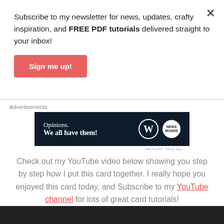Subscribe to my newsletter for news, updates, crafty inspiration, and FREE PDF tutorials delivered straight to your inbox!
Sign me up!
[Figure (screenshot): Advertisement banner with dark navy background showing 'Opinions. We all have them!' with WordPress and News logo circles on the right.]
REPORT THIS AD
Check out my YouTube video below showing you step by step how I put this card together. I really hope you enjoyed this card today, and Subscribe to my YouTube channel for lots of great card tutorials!
[Figure (photo): Bottom portion of a YouTube video thumbnail, partially visible.]